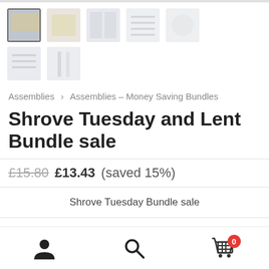[Figure (screenshot): Row of 5 product thumbnail images (faded/grey placeholders) showing assembly resources]
[Figure (screenshot): Row of 2 additional product thumbnail images (faded/grey placeholders)]
Assemblies > Assemblies – Money Saving Bundles
Shrove Tuesday and Lent Bundle sale
£15.80  £13.43 (saved 15%)
Shrove Tuesday Bundle sale
Lent Bundle sale